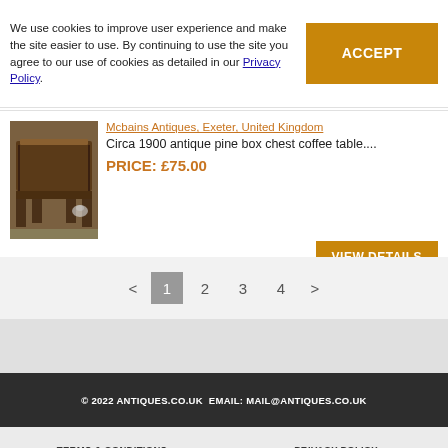We use cookies to improve user experience and make the site easier to use. By continuing to use the site you agree to our use of cookies as detailed in our Privacy Policy.
ACCEPT
Mcbains Antiques, Exeter, United Kingdom
Circa 1900 antique pine box chest coffee table....
PRICE: £75.00
[Figure (photo): Photo of an antique pine box chest coffee table, dark brown wood, with a small white cat visible near it]
VIEW DETAILS
< 1 2 3 4 >
© 2022 ANTIQUES.CO.UK EMAIL: MAIL@ANTIQUES.CO.UK
TERMS & CONDITIONS
PRIVACY POLICY
RETURNS
XML IMPORTS
SOLD ANTIQUES
SUBSCRIBE
NEWSLETTER ARCHIVE